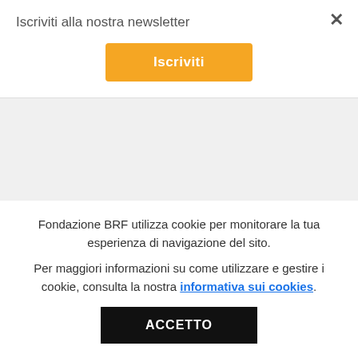Iscriviti alla nostra newsletter
Iscriviti
resulted in the development of the first causal loop diagram of reinforcing feedback processes of depression. It proposes candidate drivers of illness, or inertial factors, and their temporal functioning, as well as the interactions among drivers of
Fondazione BRF utilizza cookie per monitorare la tua esperienza di navigazione del sito. Per maggiori informazioni su come utilizzare e gestire i cookie, consulta la nostra informativa sui cookies.
ACCETTO